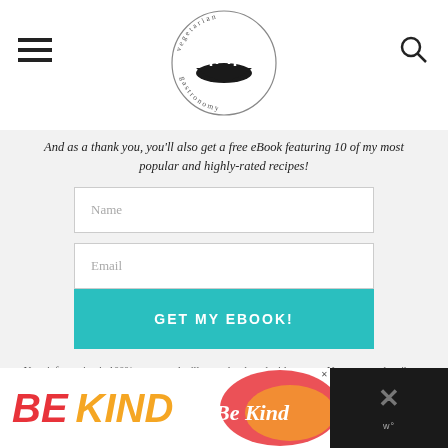[Figure (logo): Vegetarian Gastronomy circular logo with fork graphic and circular text]
And as a thank you, you'll also get a free eBook featuring 10 of my most popular and highly-rated recipes!
Name
Email
GET MY EBOOK!
Your information is 100% secure and will never be shared with anyone. You can unsubscribe at any time.
[Figure (illustration): BE KIND advertisement banner at bottom of page]